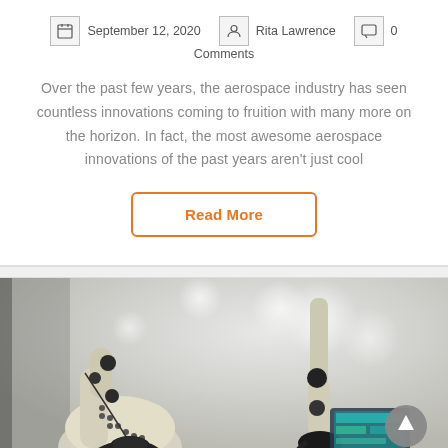September 12, 2020  Rita Lawrence  0
Comments
Over the past few years, the aerospace industry has seen countless innovations coming to fruition with many more on the horizon. In fact, the most awesome aerospace innovations of the past years aren't just cool
Read More
[Figure (photo): Industrial robotic arms in a factory setting, white and black mechanical arms photographed close-up with bokeh background, a tablet/screen visible in the lower right]